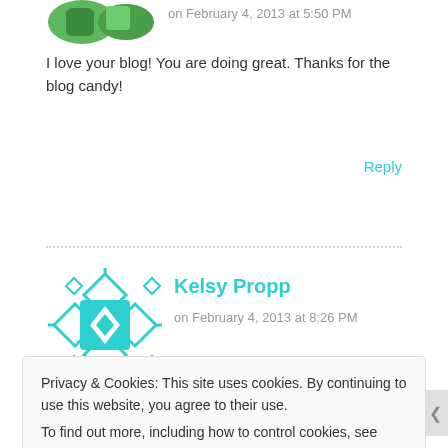on February 4, 2013 at 5:50 PM
I love your blog! You are doing great. Thanks for the blog candy!
Reply
Kelsy Propp
on February 4, 2013 at 8:26 PM
Privacy & Cookies: This site uses cookies. By continuing to use this website, you agree to their use.
To find out more, including how to control cookies, see here: Cookie Policy